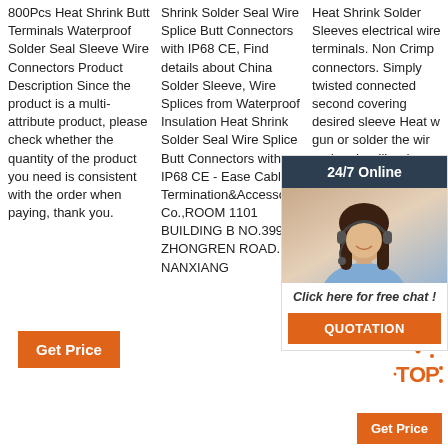800Pcs Heat Shrink Butt Terminals Waterproof Solder Seal Sleeve Wire Connectors Product Description Since the product is a multi-attribute product, please check whether the quantity of the product you need is consistent with the order when paying, thank you.
Shrink Solder Seal Wire Splice Butt Connectors with IP68 CE, Find details about China Solder Sleeve, Wire Splices from Waterproof Insulation Heat Shrink Solder Seal Wire Splice Butt Connectors with IP68 CE - Ease Cable Termination&Accessories Co.,ROOM 1101 BUILDING B NO.399 ZHONGREN ROAD. NANXIANG
Heat Shrink Solder Sleeves electrical wire terminals. Non Crimp connectors. Simply twisted connected second covering desired sleeve Heat w gun or solder the wir and ends will reduce by 2:1 sealing the wires securely and also a waterproof seal.
[Figure (photo): Customer service representative with headset, chat widget overlay with '24/7 Online' header, photo of woman with headset, 'Click here for free chat!' text, and orange QUOTATION button]
[Figure (logo): Orange and white TOP badge/logo with dot accents]
Get Price
Get Price